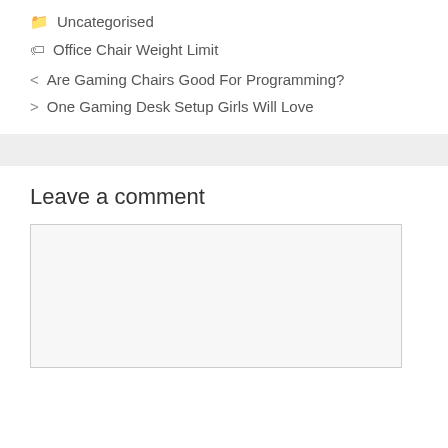Uncategorised
Office Chair Weight Limit
Are Gaming Chairs Good For Programming?
One Gaming Desk Setup Girls Will Love
Leave a comment